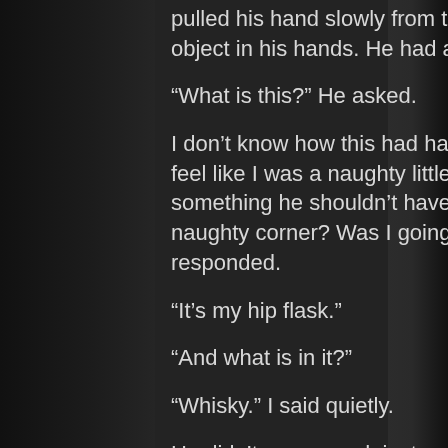pulled his hand slowly from the backpack he held aloft a bright and shiny object in his hands. He had a look of disapproval on his face.
“What is this?” He asked.
I don’t know how this had happened, but in this moment he made me feel like I was a naughty little school boy that had just been caught doing something he shouldn’t have done. Was I about to get sent to the naughty corner? Was I going to get detention? My head hung as I responded.
“It’s my hip flask.”
“And what is in it?”
“Whisky.” I said quietly.
He didn’t say a word, instead he just looked at